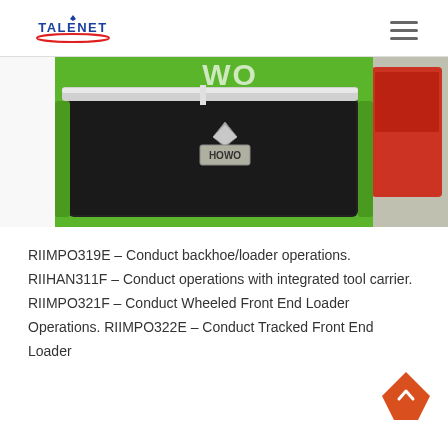TALENET
[Figure (photo): Close-up photo of a green HOWO truck front grille with the HOWO logo badge, and a red truck partially visible in the background.]
RIIMPO319E – Conduct backhoe/loader operations. RIIHAN311F – Conduct operations with integrated tool carrier. RIIMPO321F – Conduct Wheeled Front End Loader Operations. RIIMPO322E – Conduct Tracked Front End Loader